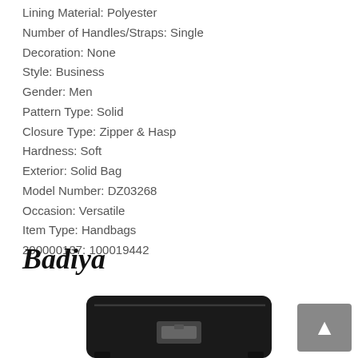Lining Material: Polyester
Number of Handles/Straps: Single
Decoration: None
Style: Business
Gender: Men
Pattern Type: Solid
Closure Type: Zipper & Hasp
Hardness: Soft
Exterior: Solid Bag
Model Number: DZ03268
Occasion: Versatile
Item Type: Handbags
200000137: 100019442
[Figure (logo): Badiya brand logo in cursive/script font]
[Figure (photo): Black leather handbag/messenger bag with buckle closure, partially visible at bottom of page]